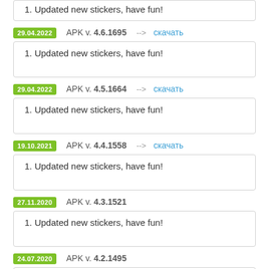1. Updated new stickers, have fun!
29.04.2022  APK v. 4.6.1695  -->  скачать
1. Updated new stickers, have fun!
29.04.2022  APK v. 4.5.1664  -->  скачать
1. Updated new stickers, have fun!
19.10.2021  APK v. 4.4.1558  -->  скачать
1. Updated new stickers, have fun!
27.11.2020  APK v. 4.3.1521
1. Updated new stickers, have fun!
24.07.2020  APK v. 4.2.1495